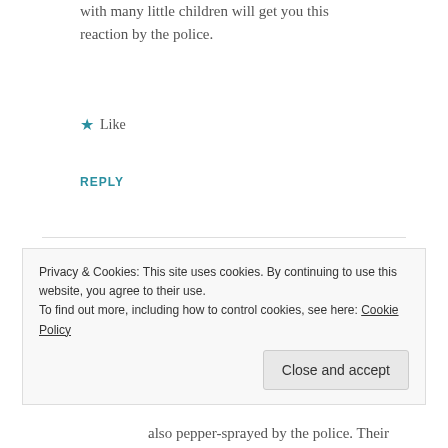with many little children will get you this reaction by the police.
★ Like
REPLY
[Figure (illustration): Green tree avatar icon with orange trunk — WordPress default user avatar]
blackgirlgone
14/11/2011 AT 16:32
Teddy, this video is of a friend who was
Privacy & Cookies: This site uses cookies. By continuing to use this website, you agree to their use.
To find out more, including how to control cookies, see here: Cookie Policy
Close and accept
also pepper-sprayed by the police. Their